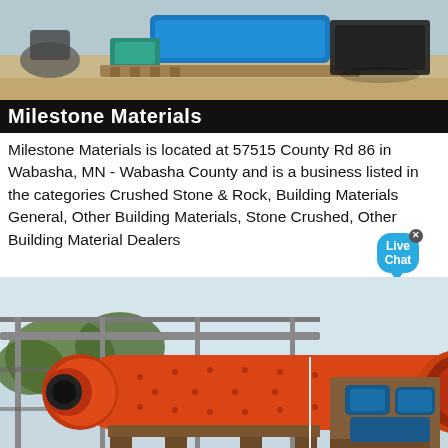[Figure (photo): Top photo showing blue industrial equipment/machinery parts laid out on sandy ground]
Milestone Materials
Milestone Materials is located at 57515 County Rd 86 in Wabasha, MN - Wabasha County and is a business listed in the categories Crushed Stone & Rock, Building Materials General, Other Building Materials, Stone Crushed, Other Building Material Dealers
[Figure (photo): Large orange industrial ball mill machine mounted on steel frame supports in an outdoor industrial setting, with blue motor unit on the right, trees visible in background, workers visible at base]